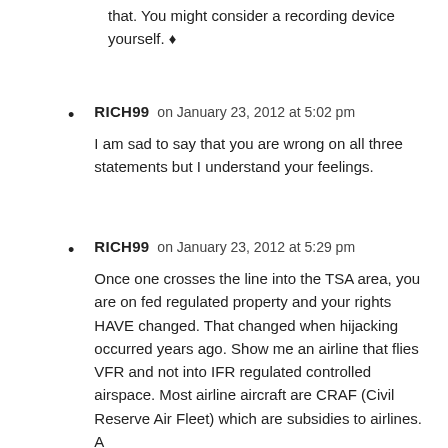that. You might consider a recording device yourself. ♦
RICH99 on January 23, 2012 at 5:02 pm
I am sad to say that you are wrong on all three statements but I understand your feelings.
RICH99 on January 23, 2012 at 5:29 pm
Once one crosses the line into the TSA area, you are on fed regulated property and your rights HAVE changed. That changed when hijacking occurred years ago. Show me an airline that flies VFR and not into IFR regulated controlled airspace. Most airline aircraft are CRAF (Civil Reserve Air Fleet) which are subsidies to airlines. A